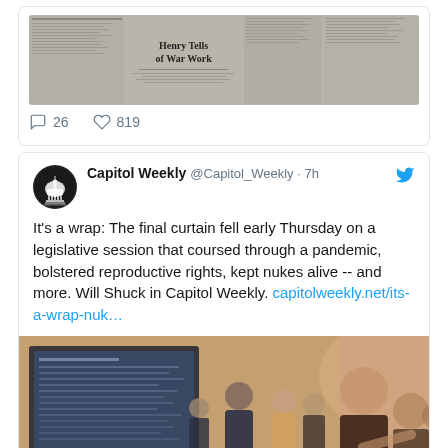[Figure (screenshot): Partial tweet showing a newspaper image with headline 'Henry Tells of War Work', with 26 comments and 819 likes]
26   819
[Figure (screenshot): Tweet from Capitol Weekly @Capitol_Weekly 7h: It's a wrap: The final curtain fell early Thursday on a legislative session that coursed through a pandemic, bolstered reproductive rights, kept nukes alive -- and more. Will Shuck in Capitol Weekly. capitolweekly.net/its-a-wrap-nuk...]
[Figure (photo): Photo of people gathered around a screen/monitor at a legislative session event]
RECENT POSTS
Needed: Greater participation of women in construction industry